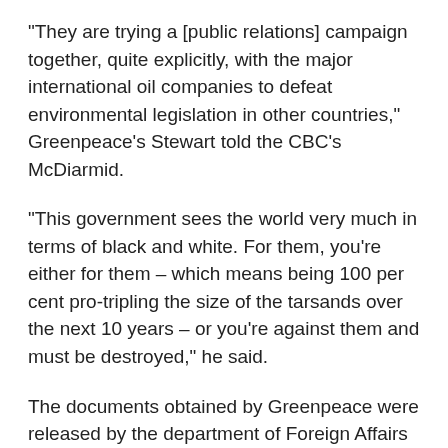"They are trying a [public relations] campaign together, quite explicitly, with the major international oil companies to defeat environmental legislation in other countries," Greenpeace's Stewart told the CBC's McDiarmid.
"This government sees the world very much in terms of black and white. For them, you're either for them – which means being 100 per cent pro-tripling the size of the tarsands over the next 10 years – or you're against them and must be destroyed," he said.
The documents obtained by Greenpeace were released by the department of Foreign Affairs and International Trade. A spokesman said Thursday the department doesn't agree with the "allies" and "adversaries" list but that it will continue to promote